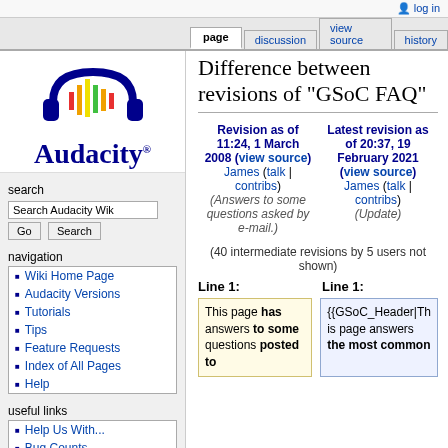log in
page | discussion | view source | history
[Figure (logo): Audacity logo with blue headphones and colorful waveform, with text 'Audacity®' in blue]
search
Search Audacity Wik [Go] [Search]
navigation
Wiki Home Page
Audacity Versions
Tutorials
Tips
Feature Requests
Index of All Pages
Help
useful links
Help Us With...
Bug Counts
Difference between revisions of "GSoC FAQ"
| Revision as of 11:24, 1 March 2008 (view source) | Latest revision as of 20:37, 19 February 2021 (view source) |
| --- | --- |
| James (talk | contribs) | James (talk | contribs) |
| (Answers to some questions asked by e-mail.) | (Update) |
(40 intermediate revisions by 5 users not shown)
Line 1:
Line 1:
This page has answers to some questions posted to
{{GSoC_Header|This page answers the most common